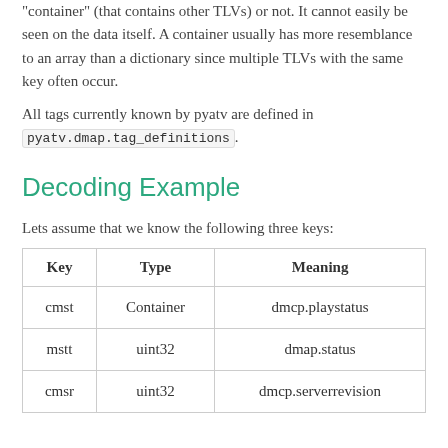container" (that contains other TLVs) or not. It cannot easily be seen on the data itself. A container usually has more resemblance to an array than a dictionary since multiple TLVs with the same key often occur.
All tags currently known by pyatv are defined in pyatv.dmap.tag_definitions.
Decoding Example
Lets assume that we know the following three keys:
| Key | Type | Meaning |
| --- | --- | --- |
| cmst | Container | dmcp.playstatus |
| mstt | uint32 | dmap.status |
| cmsr | uint32 | dmcp.serverrevision |